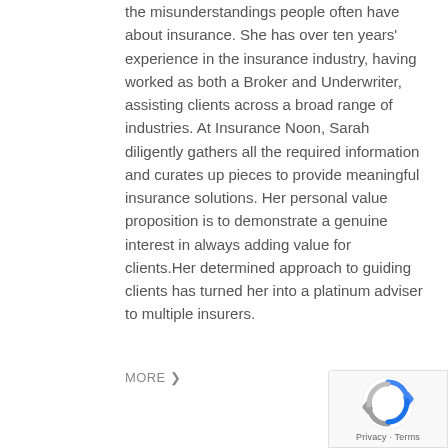the misunderstandings people often have about insurance. She has over ten years' experience in the insurance industry, having worked as both a Broker and Underwriter, assisting clients across a broad range of industries. At Insurance Noon, Sarah diligently gathers all the required information and curates up pieces to provide meaningful insurance solutions. Her personal value proposition is to demonstrate a genuine interest in always adding value for clients.Her determined approach to guiding clients has turned her into a platinum adviser to multiple insurers.
MORE ❯
[Figure (logo): Google reCAPTCHA badge with recycling-style arrows logo icon and 'Privacy · Terms' text]